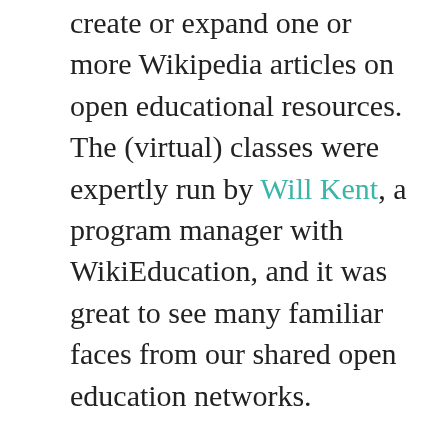create or expand one or more Wikipedia articles on open educational resources. The (virtual) classes were expertly run by Will Kent, a program manager with WikiEducation, and it was great to see many familiar faces from our shared open education networks.